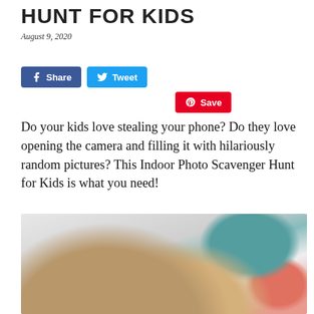HUNT FOR KIDS
August 9, 2020
[Figure (infographic): Social media share buttons: Facebook Share, Twitter Tweet, Pinterest Save]
Do your kids love stealing your phone? Do they love opening the camera and filling it with hilariously random pictures? This Indoor Photo Scavenger Hunt for Kids is what you need!
[Figure (photo): Photo of a child with blonde hair, colorful background with teal and red/pink colors visible]